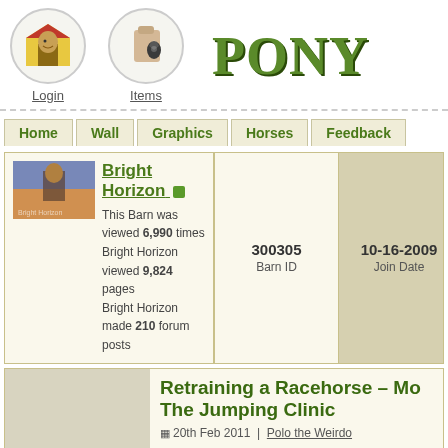Login | Items | PONY
Home | Wall | Graphics | Horses | Feedback
| Profile | Barn ID | Join Date | Ponybuc... |
| --- | --- | --- | --- |
| Bright Horizon — This Barn was viewed 6,990 times Bright Horizon viewed 9,824 pages Bright Horizon made 210 forum posts | 300305 | 10-16-2009 | 115,13... |
Retraining a Racehorse – Mo The Jumping Clinic
20th Feb 2011 | Polo the Weirdo
On 28 January 2011, Moony and I attended Andreas Hollmann – An international rider